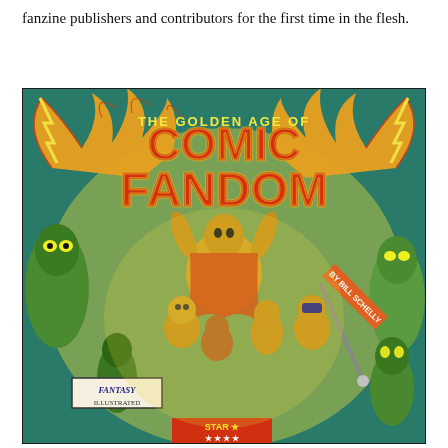fanzine publishers and contributors for the first time in the flesh.
[Figure (illustration): Book cover illustration for 'The Golden Age of Comic Fandom' by Bill Schelly. The cover features bold orange and red text on a teal/green background with golden superhero characters in dynamic poses, a winged figure at top, various costumed heroes in the center, and green monster/villain figures on the sides. A 'Fantasy Illustrated' sign and 'Star' banner are visible at the bottom.]